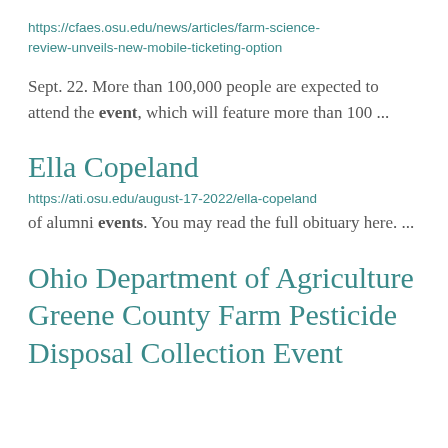https://cfaes.osu.edu/news/articles/farm-science-review-unveils-new-mobile-ticketing-option
Sept. 22. More than 100,000 people are expected to attend the event, which will feature more than 100 ...
Ella Copeland
https://ati.osu.edu/august-17-2022/ella-copeland
of alumni events. You may read the full obituary here.  ...
Ohio Department of Agriculture Greene County Farm Pesticide Disposal Collection Event